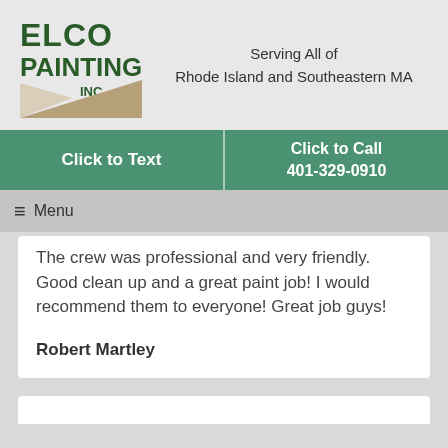[Figure (logo): Elco Painting Inc. logo with stylized paint brush triangle shape in tan/brown]
Serving All of
Rhode Island and Southeastern MA
Click to Text
Click to Call
401-329-0910
☰ Menu
The crew was professional and very friendly. Good clean up and a great paint job! I would recommend them to everyone! Great job guys!
Robert Martley